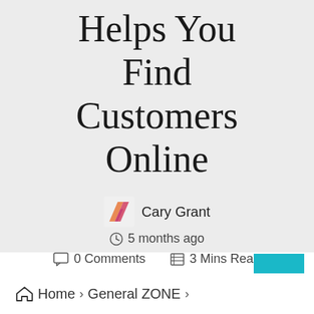Helps You Find Customers Online
Cary Grant
5 months ago
0 Comments   3 Mins Read
[Figure (other): Scroll to top button, cyan/teal colored square with upward arrow]
Home › General ZONE ›